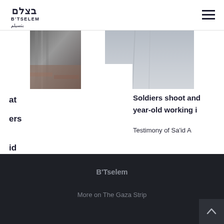B'TSELEM
[Figure (photo): Two partially visible photos: left shows person in dark clothing with striped fabric and brick wall background; right shows a person in light/grey clothing]
at
ers
Soldiers shoot and year-old working i
Testimony of Sa’id A
id
B'Tselem
More on The Gaza Strip